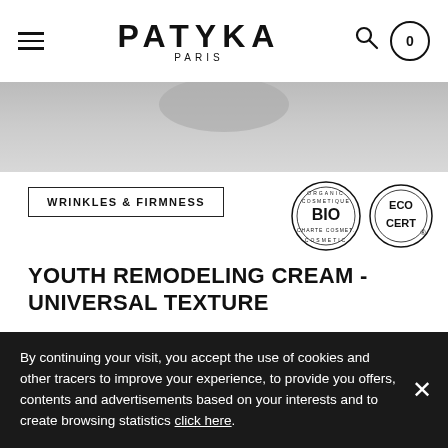PATYKA PARIS
[Figure (photo): Partial product image (cream jar) on light grey background]
WRINKLES & FIRMNESS
[Figure (logo): Organic Cosmetique BIO Charte Cosmetic logo and Ecocert logo]
YOUTH REMODELING CREAM - UNIVERSAL TEXTURE
★★★★½ 4 reviews
1.7 oz. / 50 mL
| 1 | $110 |
By continuing your visit, you accept the use of cookies and other tracers to improve your experience, to provide you offers, contents and advertisements based on your interests and to create browsing statistics click here.